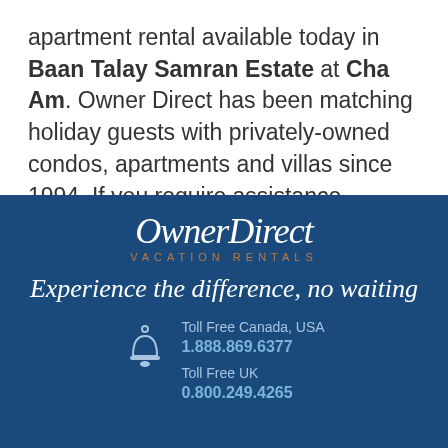apartment rental available today in Baan Talay Samran Estate at Cha Am. Owner Direct has been matching holiday guests with privately-owned condos, apartments and villas since 1994. If you require assistance, please feel free to email us or call every day of the week..
[Figure (logo): Owner Direct Vacation Rentals logo in white script on dark blue background with orange tagline text 'VACATION RENTALS']
Experience the difference, no waiting
Toll Free Canada, USA
1.888.869.6377
Toll Free UK
0.800.249.4265